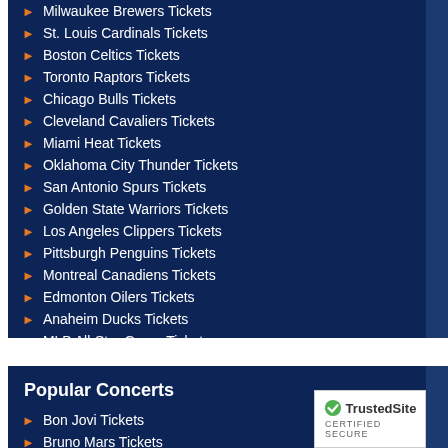Milwaukee Brewers Tickets
St. Louis Cardinals Tickets
Boston Celtics Tickets
Toronto Raptors Tickets
Chicago Bulls Tickets
Cleveland Cavaliers Tickets
Miami Heat Tickets
Oklahoma City Thunder Tickets
San Antonio Spurs Tickets
Golden State Warriors Tickets
Los Angeles Clippers Tickets
Pittsburgh Penguins Tickets
Montreal Canadiens Tickets
Edmonton Oilers Tickets
Anaheim Ducks Tickets
MLB All-Star Game Tickets
Popular Concerts
Bon Jovi Tickets
Bruno Mars Tickets
Eric Church Tickets